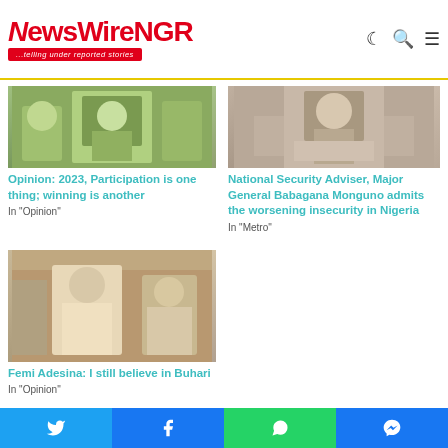[Figure (logo): NewsWireNGR logo with red text and tagline '...telling under reported stories' on red background]
[Figure (photo): Photo of person in white and green Nigerian soccer outfit holding a staff/pole]
Opinion: 2023, Participation is one thing; winning is another
In "Opinion"
[Figure (photo): Photo of official at podium with emblem/seal behind]
National Security Adviser, Major General Babagana Monguno admits the worsening insecurity in Nigeria
In "Metro"
[Figure (photo): Photo of people in traditional Nigerian robes meeting]
Femi Adesina: I still believe in Buhari
In "Opinion"